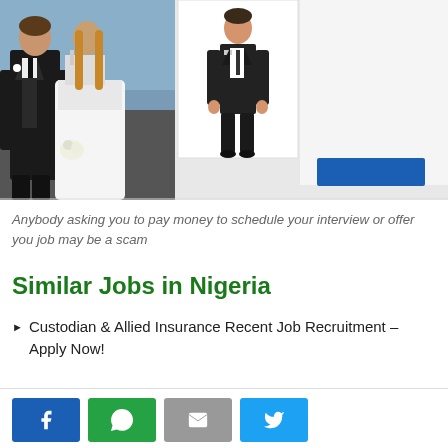[Figure (photo): Wedding couple (groom in black tuxedo, bride in white dress) and a young boy in black suit, with a blue button/banner element]
Anybody asking you to pay money to schedule your interview or offer you job may be a scam
Similar Jobs in Nigeria
Custodian & Allied Insurance Recent Job Recruitment – Apply Now!
[Figure (infographic): Social share buttons: Facebook, WhatsApp, Email, Twitter]